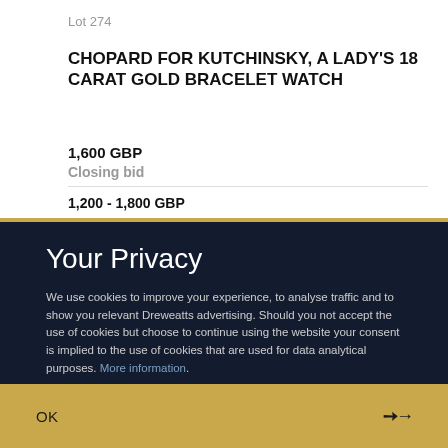Lot 274
CHOPARD FOR KUTCHINSKY, A LADY'S 18 CARAT GOLD BRACELET WATCH
1,600 GBP
Closing bid
1,200 - 1,800 GBP
Your Privacy
We use cookies to improve your experience, to analyse traffic and to show you relevant Dreweatts advertising. Should you not accept the use of cookies but choose to continue using the website your consent is implied to the use of cookies that are used for data analytical purposes. More information.
OK